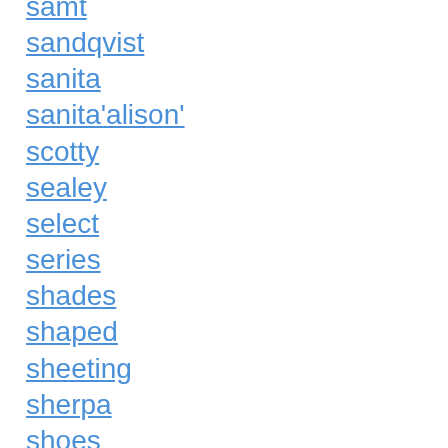samt
sandqvist
sanita
sanita'alison'
scotty
sealey
select
series
shades
shaped
sheeting
sherpa
shoes
shop
short
slitting
small